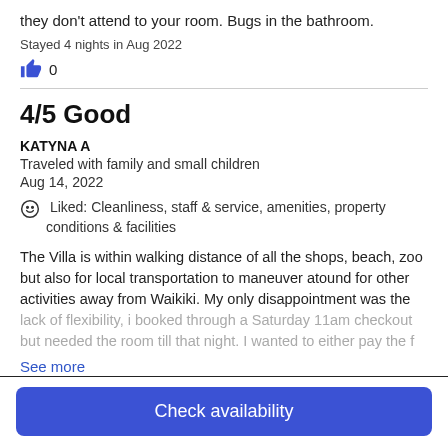they don't attend to your room. Bugs in the bathroom.
Stayed 4 nights in Aug 2022
👍 0
4/5 Good
KATYNA A
Traveled with family and small children
Aug 14, 2022
☺ Liked: Cleanliness, staff & service, amenities, property conditions & facilities
The Villa is within walking distance of all the shops, beach, zoo but also for local transportation to maneuver atound for other activities away from Waikiki. My only disappointment was the lack of flexibility, i booked through a Saturday 11am checkout but needed the room till that night. I wanted to either pay the f
See more
Check availability